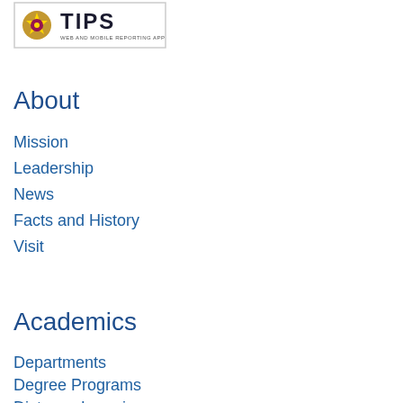[Figure (logo): TIPS Web and Mobile Reporting App logo with a badge/star icon on the left and 'TIPS' in bold text with 'WEB AND MOBILE REPORTING APP' subtitle]
About
Mission
Leadership
News
Facts and History
Visit
Academics
Departments
Degree Programs
Distance Learning
Administration